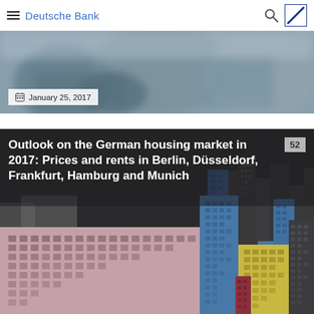Deutsche Bank
[Figure (photo): Blurred photo of people working, with a date badge reading January 25, 2017]
January 25, 2017
[Figure (illustration): Illustration of colorful city skyline with buildings in pink, blue, yellow, and dark grey tones. Article title overlay reads: Outlook on the German housing market in 2017: Prices and rents in Berlin, Düsseldorf, Frankfurt, Hamburg and Munich. Number badge: 52]